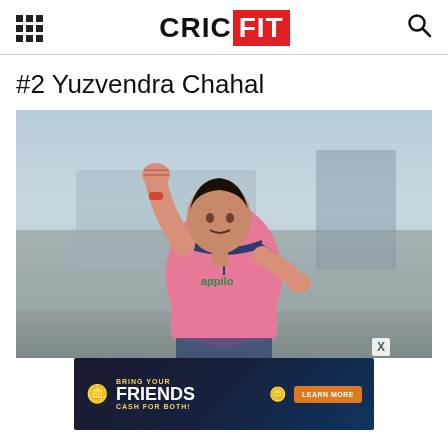CRICFIT
#2 Yuzvendra Chahal
[Figure (photo): Yuzvendra Chahal in pink Rajasthan Royals jersey celebrating with fist pump, cricket player photo]
[Figure (infographic): Advertisement banner: BRING YOUR FRIENDS CASH FOR BOTH! with gold coins and LEARN MORE button on dark blue background]